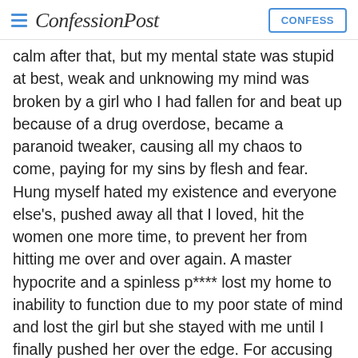ConfessionPost | CONFESS
calm after that, but my mental state was stupid at best, weak and unknowing my mind was broken by a girl who I had fallen for and beat up because of a drug overdose, became a paranoid tweaker, causing all my chaos to come, paying for my sins by flesh and fear. Hung myself hated my existence and everyone else's, pushed away all that I loved, hit the women one more time, to prevent her from hitting me over and over again. A master hypocrite and a spinless p**** lost my home to inability to function due to my poor state of mind and lost the girl but she stayed with me until I finally pushed her over the edge. For accusing her so much I forced her to become resentful and caused her to cheat ot so I believe, gave up on everyone and tried to f*** my friends ex, no go, moved in with mom, got sober for a day, started shooting up again, got acused falsely of rape of my friends sister who I tried to shoot